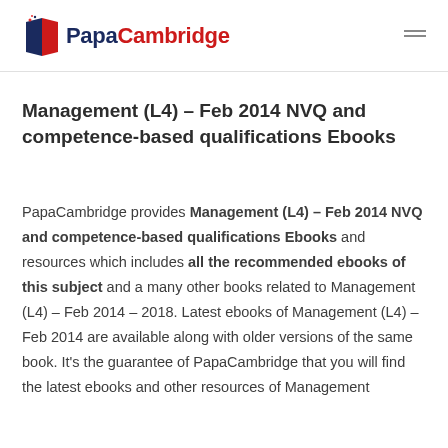PapaCambridge
Management (L4) – Feb 2014 NVQ and competence-based qualifications Ebooks
PapaCambridge provides Management (L4) – Feb 2014 NVQ and competence-based qualifications Ebooks and resources which includes all the recommended ebooks of this subject and a many other books related to Management (L4) – Feb 2014 – 2018. Latest ebooks of Management (L4) – Feb 2014 are available along with older versions of the same book. It's the guarantee of PapaCambridge that you will find the latest ebooks and other resources of Management